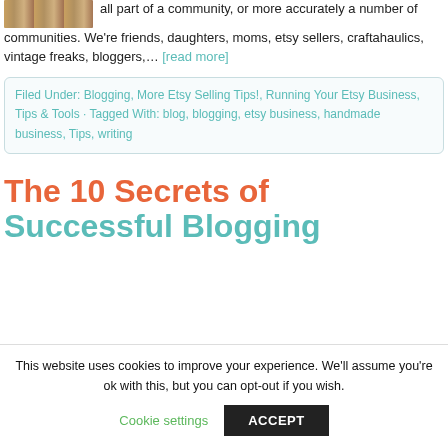[Figure (photo): Partial image of a piece of furniture with a reddish-brown wooden surface, appearing at the top-left]
all part of a community, or more accurately a number of communities. We're friends, daughters, moms, etsy sellers, craftahaulics, vintage freaks, bloggers,… [read more]
Filed Under: Blogging, More Etsy Selling Tips!, Running Your Etsy Business, Tips & Tools · Tagged With: blog, blogging, etsy business, handmade business, Tips, writing
The 10 Secrets of Successful Blogging
This website uses cookies to improve your experience. We'll assume you're ok with this, but you can opt-out if you wish.
Cookie settings   ACCEPT